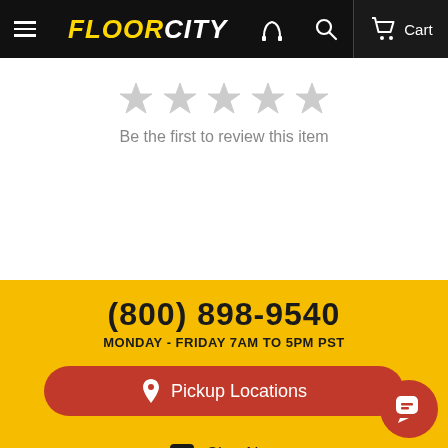FLOOR CITY - Cart
Be the first to review this item
(800) 898-9540
MONDAY - FRIDAY 7AM TO 5PM PST
Pickup Locations
Chat Now
Send us a message